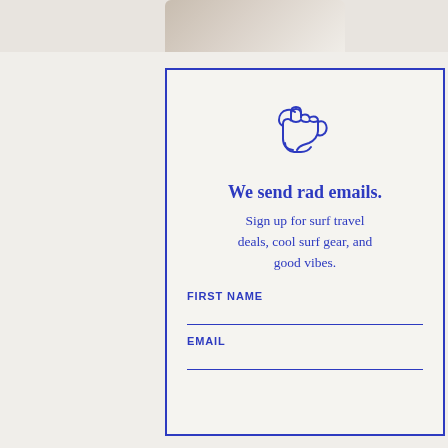[Figure (photo): Partial photo visible at the top of the page, showing what appears to be a table or surface with objects.]
[Figure (illustration): Shaka hand gesture icon drawn in blue outline style — hand making the 'hang loose' surf sign.]
We send rad emails.
Sign up for surf travel deals, cool surf gear, and good vibes.
FIRST NAME
EMAIL